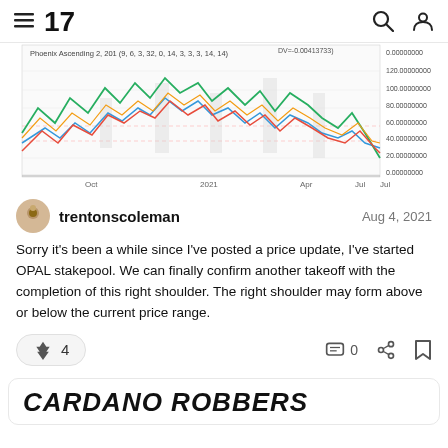TradingView navigation header with logo, search and user icons
[Figure (line-chart): Multi-line price chart labeled 'Phoenix Ascending 2, 201 (9, 6, 3, 32, 0, 14, 3, 3, 3, 14, 14)' with green, blue, red, and yellow oscillating lines. X-axis shows Oct, 2021, Apr, Jul, Oct. Y-axis shows values from 0.00000000 to 120.00000000 with gray shaded areas.]
trentonscoleman
Aug 4, 2021
Sorry it's been a while since I've posted a price update, I've started OPAL stakepool. We can finally confirm another takeoff with the completion of this right shoulder. The right shoulder may form above or below the current price range.
4
0
CARDANO ROBBERS